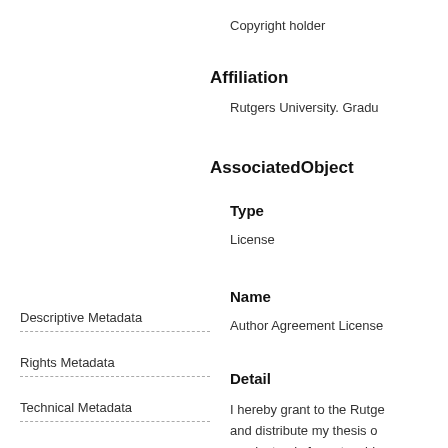Copyright holder
Affiliation
Rutgers University. Gradu
AssociatedObject
Type
License
Name
Descriptive Metadata
Rights Metadata
Technical Metadata
Author Agreement License
Detail
I hereby grant to the Rutge and distribute my thesis o an electronic format, subje my school. I represent ano